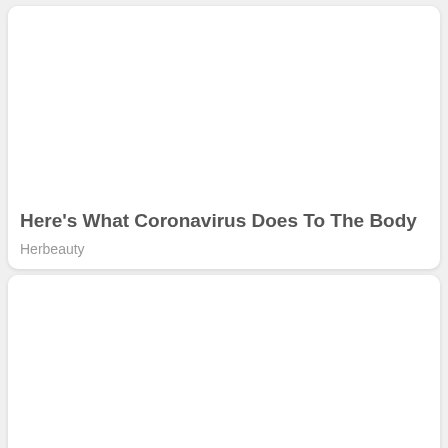[Figure (other): Blank white image placeholder for article about Coronavirus]
Here's What Coronavirus Does To The Body
Herbeauty
[Figure (other): Blank white image placeholder for article about Indian Women's Best Formulas]
Here Are Indian Women's Best Formulas